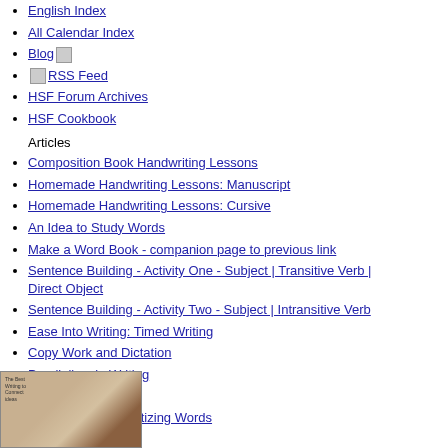English Index
All Calendar Index
Blog [blog icon]
[internet icon] RSS Feed
HSF Forum Archives
HSF Cookbook
Articles
Composition Book Handwriting Lessons
Homemade Handwriting Lessons: Manuscript
Homemade Handwriting Lessons: Cursive
An Idea to Study Words
Make a Word Book - companion page to previous link
Sentence Building - Activity One - Subject | Transitive Verb | Direct Object
Sentence Building - Activity Two - Subject | Intransitive Verb
Ease Into Writing: Timed Writing
Copy Work and Dictation
Parallelism in Writing
The Linking Verbs
Lessons in Alphabetizing Words
[Figure (photo): Book or educational material image at bottom left]